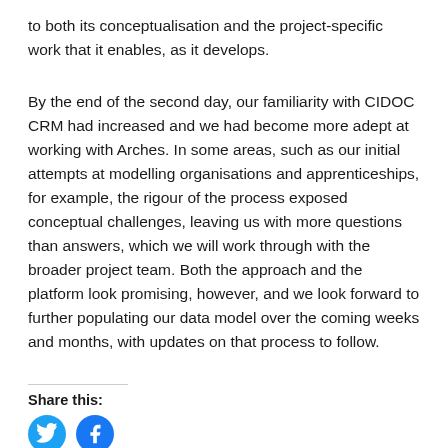to both its conceptualisation and the project-specific work that it enables, as it develops.
By the end of the second day, our familiarity with CIDOC CRM had increased and we had become more adept at working with Arches. In some areas, such as our initial attempts at modelling organisations and apprenticeships, for example, the rigour of the process exposed conceptual challenges, leaving us with more questions than answers, which we will work through with the broader project team. Both the approach and the platform look promising, however, and we look forward to further populating our data model over the coming weeks and months, with updates on that process to follow.
Share this: